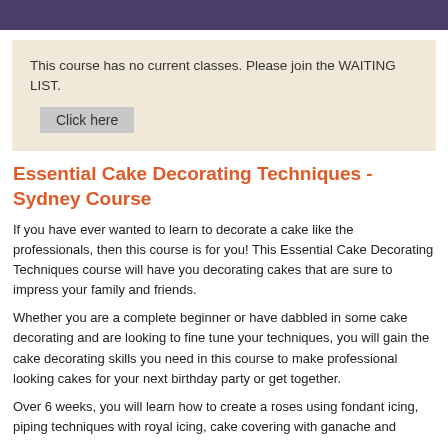This course has no current classes. Please join the WAITING LIST. Click here
Essential Cake Decorating Techniques - Sydney Course
If you have ever wanted to learn to decorate a cake like the professionals, then this course is for you! This Essential Cake Decorating Techniques course will have you decorating cakes that are sure to impress your family and friends.
Whether you are a complete beginner or have dabbled in some cake decorating and are looking to fine tune your techniques, you will gain the cake decorating skills you need in this course to make professional looking cakes for your next birthday party or get together.
Over 6 weeks, you will learn how to create a roses using fondant icing, piping techniques with royal icing, cake covering with ganache and